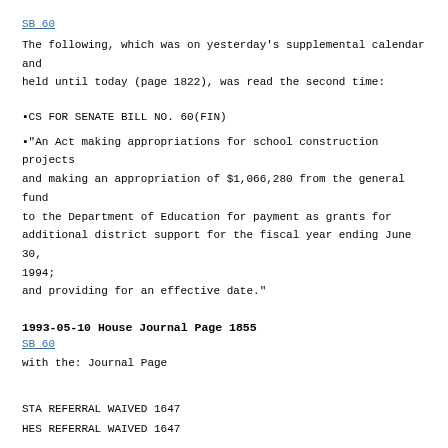SB 60
The following, which was on yesterday's supplemental calendar and held until today (page 1822), was read the second time:
▪CS FOR SENATE BILL NO. 60(FIN)
▪"An Act making appropriations for school construction projects and making an appropriation of $1,066,280 from the general fund to the Department of Education for payment as grants for additional district support for the fiscal year ending June 30, 1994; and providing for an effective date."
1993-05-10 House Journal Page 1855
SB 60
with the: Journal Page
STA REFERRAL WAIVED 1647
HES REFERRAL WAIVED 1647